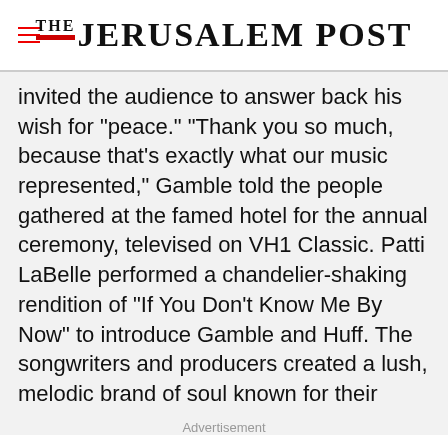THE JERUSALEM POST
invited the audience to answer back his wish for "peace." "Thank you so much, because that's exactly what our music represented," Gamble told the people gathered at the famed hotel for the annual ceremony, televised on VH1 Classic. Patti LaBelle performed a chandelier-shaking rendition of "If You Don't Know Me By Now" to introduce Gamble and Huff. The songwriters and producers created a lush, melodic brand of soul known for their hometown and performed by a
Advertisement